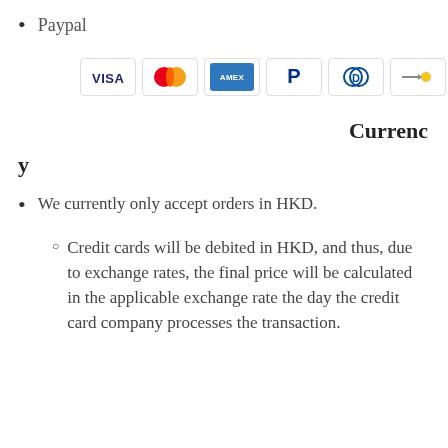Paypal
[Figure (illustration): Payment method icons: Visa, Mastercard, American Express, PayPal, Diners Club, and a generic card icon]
Currency
We currently only accept orders in HKD.
Credit cards will be debited in HKD, and thus, due to exchange rates, the final price will be calculated in the applicable exchange rate the day the credit card company processes the transaction.